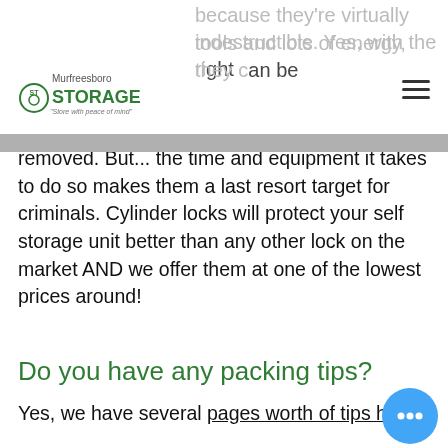Murfreesboro Storage
because they're virtually indestructible. Yes, with the right tools and lots of energy, they can be removed. But... the time and equipment it takes to do so makes them a last resort target for criminals. Cylinder locks will protect your self storage unit better than any other lock on the market AND we offer them at one of the lowest prices around!
Do you have any packing tips?
Yes, we have several pages worth of tips here.
[Figure (logo): Storage facility app icon — garage door with download arrow]
Download Our App
Murfreesboro Storage